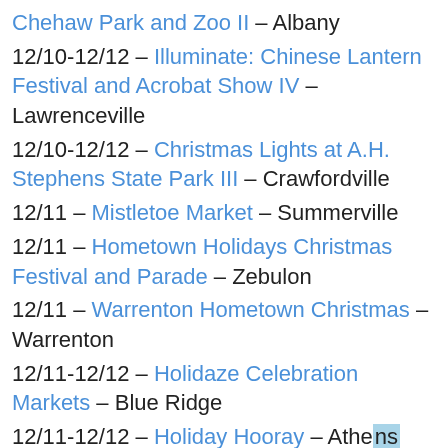Chehaw Park and Zoo II – Albany
12/10-12/12 – Illuminate: Chinese Lantern Festival and Acrobat Show IV – Lawrenceville
12/10-12/12 – Christmas Lights at A.H. Stephens State Park III – Crawfordville
12/11 – Mistletoe Market – Summerville
12/11 – Hometown Holidays Christmas Festival and Parade – Zebulon
12/11 – Warrenton Hometown Christmas – Warrenton
12/11-12/12 – Holidaze Celebration Markets – Blue Ridge
12/11-12/12 – Holiday Hooray – Athens
12/11-12/12 – Stone Mountain Christmas V – Stone Mountain